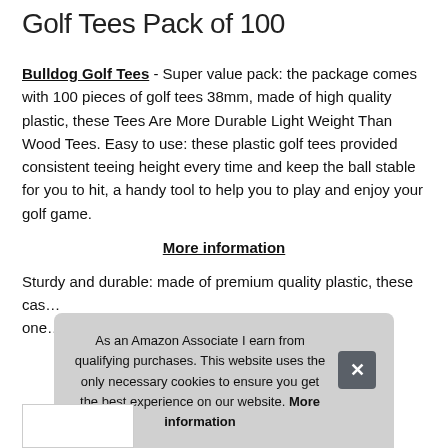Golf Tees Pack of 100
Bulldog Golf Tees - Super value pack: the package comes with 100 pieces of golf tees 38mm, made of high quality plastic, these Tees Are More Durable Light Weight Than Wood Tees. Easy to use: these plastic golf tees provided consistent teeing height every time and keep the ball stable for you to hit, a handy tool to help you to play and enjoy your golf game.
More information
Sturdy and durable: made of premium quality plastic, these cas... one...
As an Amazon Associate I earn from qualifying purchases. This website uses the only necessary cookies to ensure you get the best experience on our website. More information